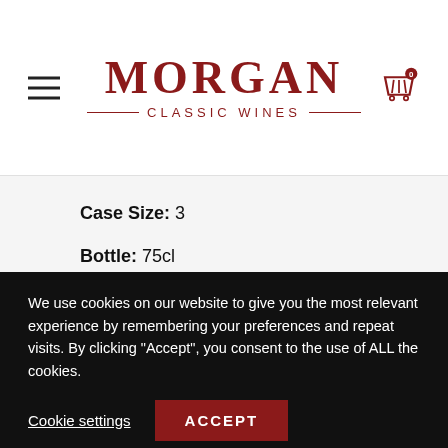[Figure (logo): Morgan Classic Wines logo with hamburger menu icon on left and shopping cart icon (with 0 badge) on right]
Case Size: 3
Bottle: 75cl
Status: IB
Price: £1,800
Available: Now
Score: 99 RP
We use cookies on our website to give you the most relevant experience by remembering your preferences and repeat visits. By clicking "Accept", you consent to the use of ALL the cookies.
Cookie settings
ACCEPT